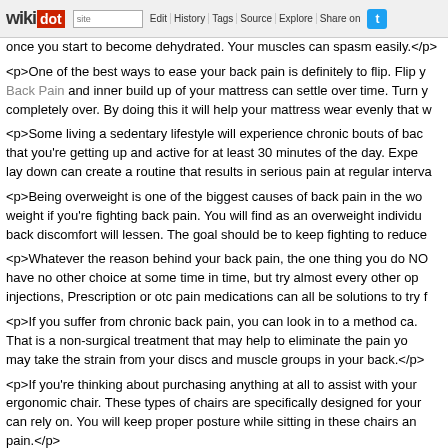wikidot | site | Edit | History | Tags | Source | Explore | Share on [Twitter]
once you start to become dehydrated. Your muscles can spasm easily.</p>
<p>One of the best ways to ease your back pain is definitely to flip. Flip y Back Pain and inner build up of your mattress can settle over time. Turn y completely over. By doing this it will help your mattress wear evenly that w
<p>Some living a sedentary lifestyle will experience chronic bouts of bac that you're getting up and active for at least 30 minutes of the day. Expe lay down can create a routine that results in serious pain at regular interva
<p>Being overweight is one of the biggest causes of back pain in the wo weight if you're fighting back pain. You will find as an overweight individu back discomfort will lessen. The goal should be to keep fighting to reduce
<p>Whatever the reason behind your back pain, the one thing you do NO have no other choice at some time in time, but try almost every other op injections, Prescription or otc pain medications can all be solutions to try f
<p>If you suffer from chronic back pain, you can look in to a method ca. That is a non-surgical treatment that may help to eliminate the pain yo may take the strain from your discs and muscle groups in your back.</p>
<p>If you're thinking about purchasing anything at all to assist with your ergonomic chair. These types of chairs are specifically designed for your can rely on. You will keep proper posture while sitting in these chairs an pain.</p>
<p>Researchers have found that vitamin B12 can decrease lower back B12 has proven to cause back discomfort in people. Foods rich in B12, li